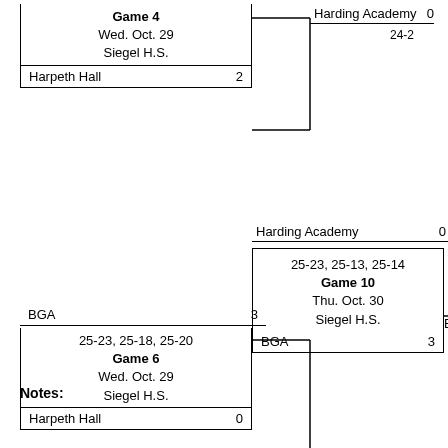[Figure (flowchart): Tournament bracket showing Game 4 (Wed. Oct. 29, Siegel H.S.) between Harpeth Hall (2) and an opponent feeding into the right side; Game 6 (Wed. Oct. 29, Siegel H.S.) between BGA (3) and Harpeth Hall (0); Harding Academy (0) feeding into Game 10 (25-23, 25-13, 25-14, Thu. Oct. 30, Siegel H.S.) where BGA (3) advances as BGA.]
Notes: